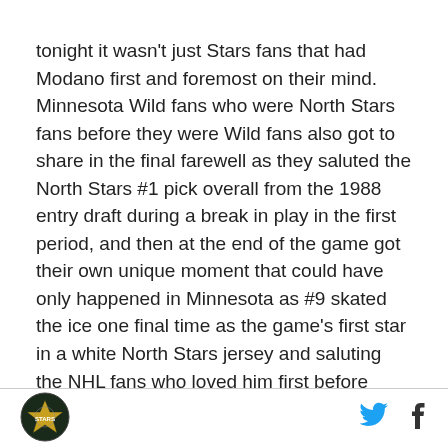tonight it wasn't just Stars fans that had Modano first and foremost on their mind.  Minnesota Wild fans who were North Stars fans before they were Wild fans also got to share in the final farewell as they saluted the North Stars #1 pick overall from the 1988 entry draft during a break in play in the first period, and then at the end of the game got their own unique moment that could have only happened in Minnesota as #9 skated the ice one final time as the game's first star in a white North Stars jersey and saluting the NHL fans who loved him first before Norm Green packed him and his team south.
[Figure (logo): Circular sports team logo, dark background with star and text]